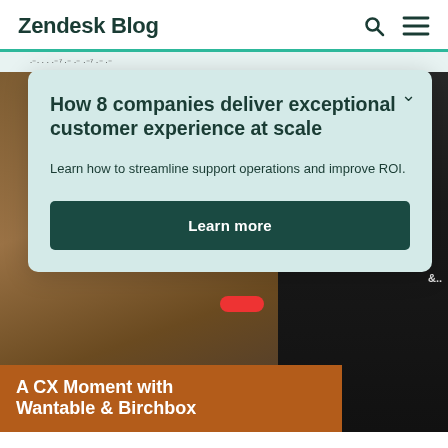Zendesk Blog
How 8 companies deliver exceptional customer experience at scale
Learn how to streamline support operations and improve ROI.
Learn more
[Figure (photo): Background photo showing two people, partially obscured by the popup card, with an orange/brown banner at the bottom]
A CX Moment with Wantable & Birchbox